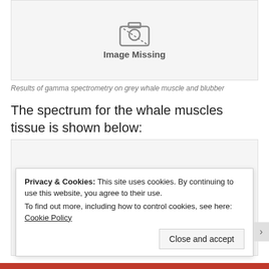[Figure (photo): Image Missing placeholder with camera icon and bold 'Image Missing' text on light grey background]
Results of gamma spectrometry on grey whale muscle and blubber
The spectrum for the whale muscles tissue is shown below:
[Figure (photo): Second Image Missing placeholder with camera icon, partially visible]
Privacy & Cookies: This site uses cookies. By continuing to use this website, you agree to their use.
To find out more, including how to control cookies, see here: Cookie Policy
Close and accept